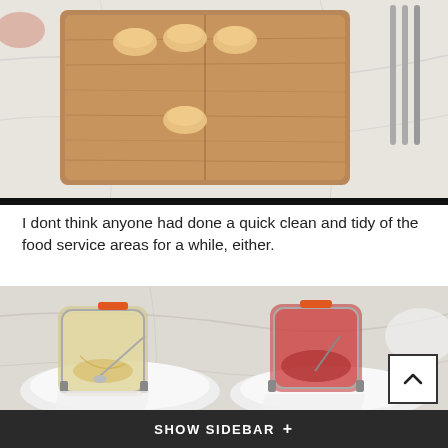[Figure (photo): Overhead view of small muffins/cupcakes arranged on a wooden serving board on a marble surface, with cutlery visible on the right]
I dont think anyone had done a quick clean and tidy of the food service areas for a while, either.
[Figure (photo): Two glass jar condiment containers on white plates on a marble surface — one containing remnants of a yellow/marmalade preserve, the other containing remnants of a red strawberry jam, both with orange clip-top lids and teaspoons]
SHOW SIDEBAR +